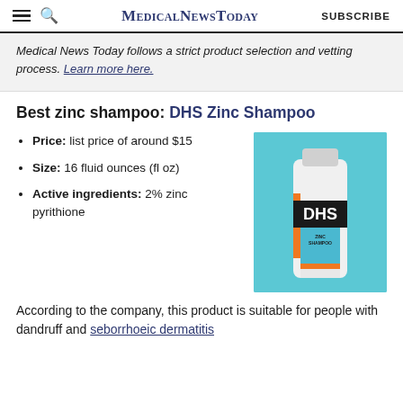MedicalNewsToday | SUBSCRIBE
Medical News Today follows a strict product selection and vetting process. Learn more here.
Best zinc shampoo: DHS Zinc Shampoo
Price: list price of around $15
Size: 16 fluid ounces (fl oz)
Active ingredients: 2% zinc pyrithione
[Figure (photo): DHS Zinc Shampoo bottle on a blue background]
According to the company, this product is suitable for people with dandruff and seborrhoeic dermatitis